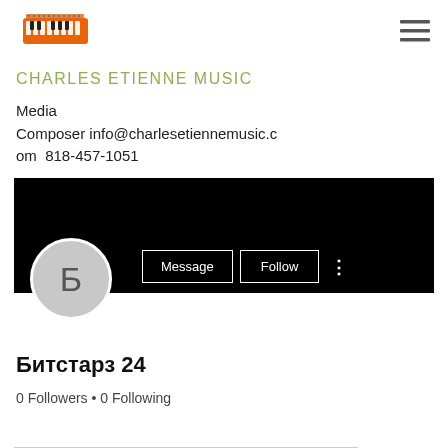[Figure (logo): Orange keyboard/synthesizer logo image for Charles Etienne Music]
[Figure (illustration): Hamburger menu icon (three horizontal lines)]
CHARLES ETIENNE MUSIC
Media Composer info@charlesetiennemusic.com  818-457-1051
[Figure (screenshot): Black banner with profile circle showing Cyrillic letter Б, Message and Follow buttons, and three-dot menu]
Битстарз 24
0 Followers • 0 Following